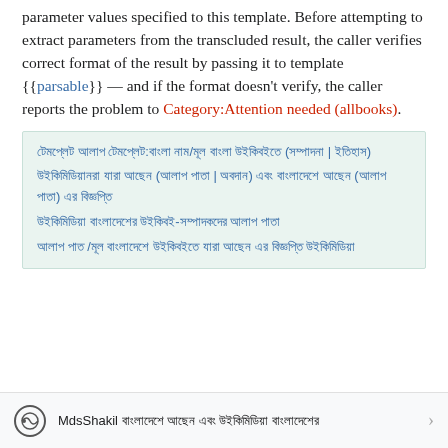parameter values specified to this template. Before attempting to extract parameters from the transcluded result, the caller verifies correct format of the result by passing it to template {{parsable}} — and if the format doesn't verify, the caller reports the problem to Category:Attention needed (allbooks).
[Bengali script box content with multiple lines of linked text in Bengali]
MdsShakil [Bengali text]